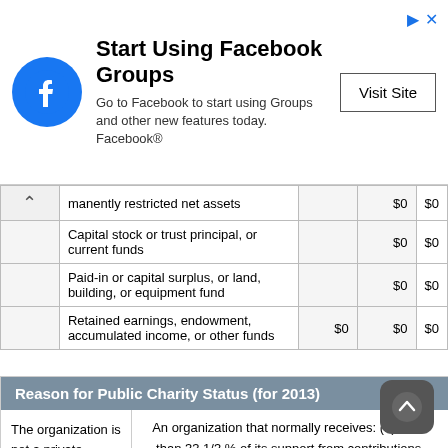[Figure (other): Facebook advertisement banner: Start Using Facebook Groups, with Facebook logo, text and Visit Site button]
|  |  |  |  |
| --- | --- | --- | --- |
| manently restricted net assets |  | $0 | $0 |
| Capital stock or trust principal, or current funds |  | $0 | $0 |
| Paid-in or capital surplus, or land, building, or equipment fund |  | $0 | $0 |
| Retained earnings, endowment, accumulated income, or other funds | $0 | $0 | $0 |
Reason for Public Charity Status (for 2013)
The organization is not a private foundation because it is:
An organization that normally receives: (1) more than 33 1/3 % of its support from contributions, membership fees, and gross receipts from activities related to its exempt functions - subject to certain exceptions, and (2) no more than 33 1/3 % of its support from gross investment income and unrelated business taxable income (less section 511 tax) from businesses acquired by the organization after June 30, 1975